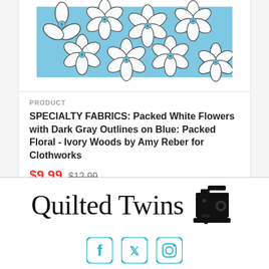[Figure (photo): Fabric swatch showing packed white flowers with dark gray outlines on a blue background]
PRODUCT
SPECIALTY FABRICS: Packed White Flowers with Dark Gray Outlines on Blue: Packed Floral - Ivory Woods by Amy Reber for Clothworks
$9.99  $12.99
[Figure (logo): Quilted Twins logo with sewing machine icon]
[Figure (infographic): Social media icons: Facebook, Twitter, Instagram in teal/cyan color]